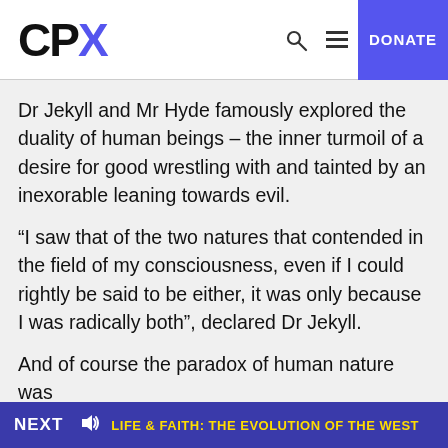CPX | DONATE
Dr Jekyll and Mr Hyde famously explored the duality of human beings – the inner turmoil of a desire for good wrestling with and tainted by an inexorable leaning towards evil.
“I saw that of the two natures that contended in the field of my consciousness, even if I could rightly be said to be either, it was only because I was radically both”, declared Dr Jekyll.
And of course the paradox of human nature was
NEXT | LIFE & FAITH: THE EVOLUTION OF THE WEST